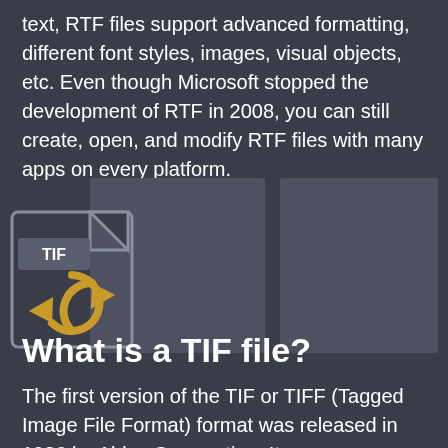text, RTF files support advanced formatting, different font styles, images, visual objects, etc. Even though Microsoft stopped the development of RTF in 2008, you can still create, open, and modify RTF files with many apps on every platform.
[Figure (illustration): TIF file icon with a circular refresh/convert arrow symbol in gold/amber color, alongside two gray placeholder image boxes]
What is a TIF file?
The first version of the TIF or TIFF (Tagged Image File Format) format was released in 1986 by Aldus Corporation. Its purpose was to unite all companies to